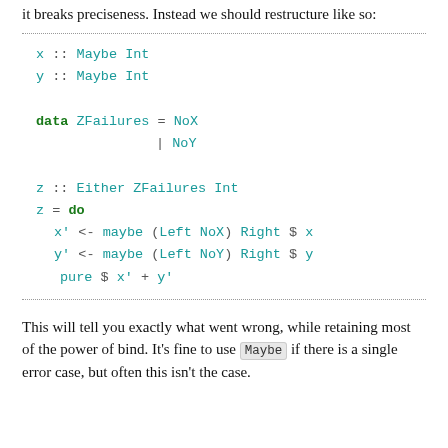it breaks preciseness. Instead we should restructure like so:
This will tell you exactly what went wrong, while retaining most of the power of bind. It's fine to use Maybe if there is a single error case, but often this isn't the case.